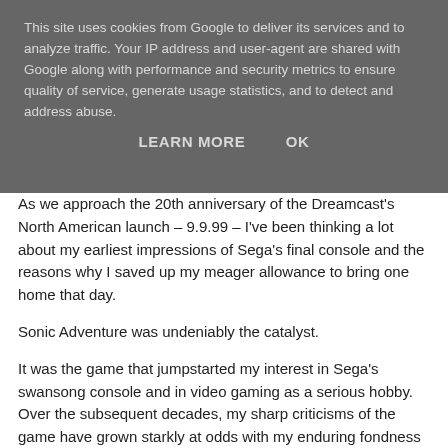This site uses cookies from Google to deliver its services and to analyze traffic. Your IP address and user-agent are shared with Google along with performance and security metrics to ensure quality of service, generate usage statistics, and to detect and address abuse.
LEARN MORE   OK
As we approach the 20th anniversary of the Dreamcast's North American launch – 9.9.99 – I've been thinking a lot about my earliest impressions of Sega's final console and the reasons why I saved up my meager allowance to bring one home that day.
Sonic Adventure was undeniably the catalyst.
It was the game that jumpstarted my interest in Sega's swansong console and in video gaming as a serious hobby. Over the subsequent decades, my sharp criticisms of the game have grown starkly at odds with my enduring fondness for it; yet neither sentiment has undermined, nor ceded ground to the other. 20 years onward, I continue to appreciate Sonic Adventure for a multitude of reasons but